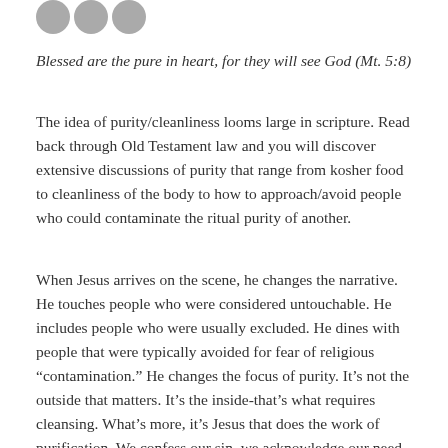[Figure (other): Three social media share icon circles (grey) in top left corner]
Blessed are the pure in heart, for they will see God (Mt. 5:8)
The idea of purity/cleanliness looms large in scripture. Read back through Old Testament law and you will discover extensive discussions of purity that range from kosher food to cleanliness of the body to how to approach/avoid people who could contaminate the ritual purity of another.
When Jesus arrives on the scene, he changes the narrative. He touches people who were considered untouchable. He includes people who were usually excluded. He dines with people that were typically avoided for fear of religious “contamination.” He changes the focus of purity. It’s not the outside that matters. It’s the inside-that’s what requires cleansing. What’s more, it’s Jesus that does the work of purification. We confess our sin, we acknowledge our need, we open